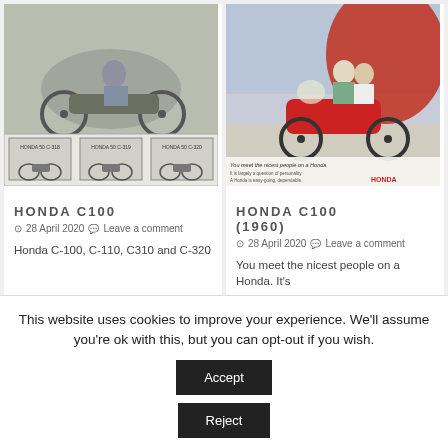[Figure (photo): Vintage Honda C100 advertisement showing people riding motorcycles, with three smaller model photos at bottom showing Honda 50 C-318, Honda 50 C-319, Honda 50 C-320]
HONDA C100
⊙ 28 April 2020  💬 Leave a comment
Honda C-100, C-110, C310 and C-320
[Figure (photo): Vintage Honda advertisement showing couple on red Honda scooter with text 'You meet the nicest people on a Honda' and Honda logo in red]
HONDA C100 (1960)
⊙ 28 April 2020  💬 Leave a comment
You meet the nicest people on a Honda. It's
This website uses cookies to improve your experience. We'll assume you're ok with this, but you can opt-out if you wish.
Accept
Reject